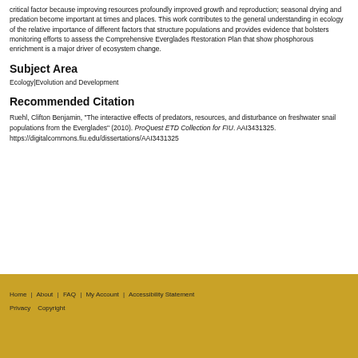critical factor because improving resources profoundly improved growth and reproduction; seasonal drying and predation become important at times and places. This work contributes to the general understanding in ecology of the relative importance of different factors that structure populations and provides evidence that bolsters monitoring efforts to assess the Comprehensive Everglades Restoration Plan that show phosphorous enrichment is a major driver of ecosystem change.
Subject Area
Ecology|Evolution and Development
Recommended Citation
Ruehl, Clifton Benjamin, "The interactive effects of predators, resources, and disturbance on freshwater snail populations from the Everglades" (2010). ProQuest ETD Collection for FIU. AAI3431325. https://digitalcommons.fiu.edu/dissertations/AAI3431325
Home | About | FAQ | My Account | Accessibility Statement Privacy Copyright